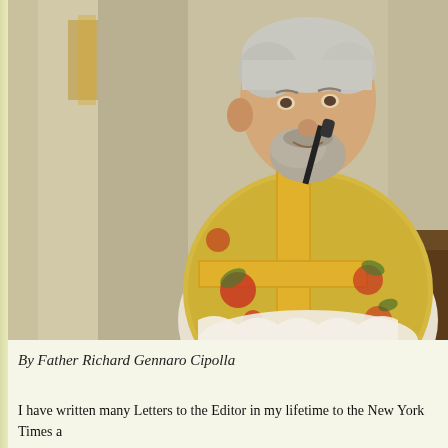[Figure (photo): A priest wearing ornate gold and floral vestments stands at a pulpit or lectern with a microphone, speaking. He has gray-white hair and a beard. The church interior is visible in the blurred background.]
By Father Richard Gennaro Cipolla
I have written many Letters to the Editor in my lifetime to the New York Times a